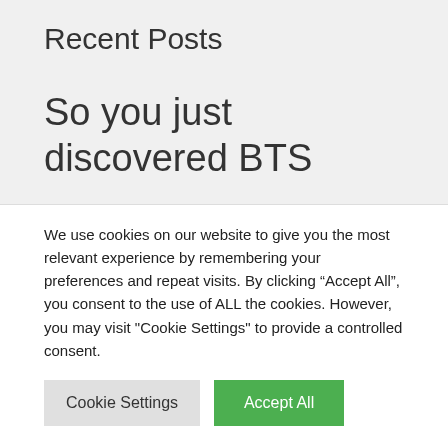Recent Posts
So you just discovered BTS
The Lord of the Rings: The Rings of Power Review:
Morfydd Clark's show is a slow
We use cookies on our website to give you the most relevant experience by remembering your preferences and repeat visits. By clicking “Accept All”, you consent to the use of ALL the cookies. However, you may visit "Cookie Settings" to provide a controlled consent.